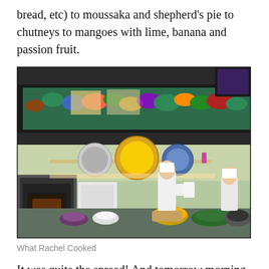bread, etc) to moussaka and shepherd’s pie to chutneys to mangoes with lime, banana and passion fruit.
[Figure (photo): A busy cooking school kitchen scene. The upper portion shows a mirror reflection of a long table covered with colorful dishes, plates of food and ingredients viewed from above, with chefs in white jackets reaching over. The lower portion shows the actual kitchen with two chefs in white coats working at a counter laden with food, dishes, and bowls. Shelves with decorative plates and kitchen equipment are visible in the background, along with an oven.]
What Rachel Cooked
It was quite the spread! And tomorrow morning, I will be